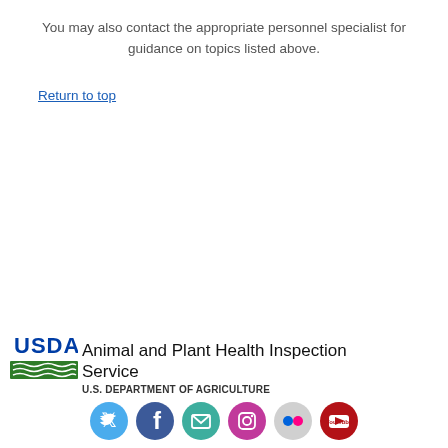You may also contact the appropriate personnel specialist for guidance on topics listed above.
Return to top
[Figure (logo): USDA logo with green banner and 'USDA' text in blue, alongside 'Animal and Plant Health Inspection Service' and 'U.S. DEPARTMENT OF AGRICULTURE']
[Figure (infographic): Row of social media icon circles: Twitter (blue), Facebook (dark blue), Email/envelope (teal/green), Instagram (pink/magenta), Flickr (light grey), YouTube (red)]